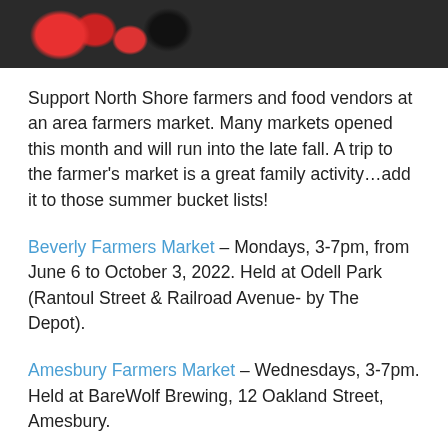[Figure (photo): Close-up photo of colorful fresh berries at a farmers market, including strawberries, blackberries, and blueberries in green containers]
Support North Shore farmers and food vendors at an area farmers market. Many markets opened this month and will run into the late fall. A trip to the farmer's market is a great family activity…add it to those summer bucket lists!
Beverly Farmers Market – Mondays, 3-7pm, from June 6 to October 3, 2022. Held at Odell Park (Rantoul Street & Railroad Avenue- by The Depot).
Amesbury Farmers Market – Wednesdays, 3-7pm. Held at BareWolf Brewing, 12 Oakland Street, Amesbury.